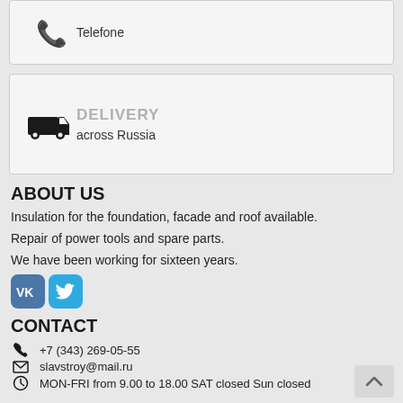[Figure (infographic): Card with phone icon and label Telefone]
[Figure (infographic): Card with delivery truck icon, heading DELIVERY and subtext across Russia]
ABOUT US
Insulation for the foundation, facade and roof available.
Repair of power tools and spare parts.
We have been working for sixteen years.
[Figure (logo): VK and Twitter social media icon buttons]
CONTACT
+7 (343) 269-05-55
slavstroy@mail.ru
MON-FRI from 9.00 to 18.00 SAT closed Sun closed